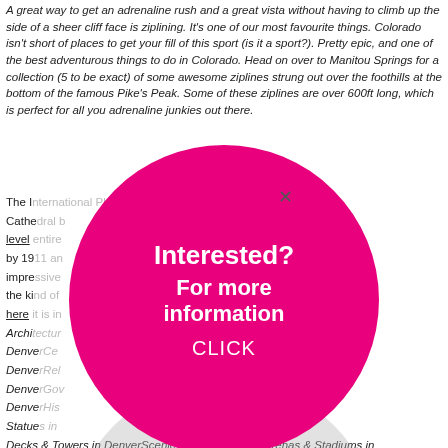A great way to get an adrenaline rush and a great vista without having to climb up the side of a sheer cliff face is ziplining. It's one of our most favourite things. Colorado isn't short of places to get your fill of this sport (is it a sport?). Pretty epic, and one of the best adventurous things to do in Colorado. Head on over to Manitou Springs for a collection (5 to be exact) of some awesome ziplines strung out over the foothills at the bottom of the famous Pike's Peak. Some of these ziplines are over 600ft long, which is perfect for all you adrenaline junkies out there.
The International ... but the Cathedral ... is another level ... and finished by 1911 and ... is impressive ... to visit. It's the kind of ... USA, but here it is in ... Architecture in DenverCe... DenverRel... in DenverGov... es in DenverHis... ts & Statues in ... ration Decks & Towers in DenverScenic Drives in DenverArenas & Stadiums in DenverFarms in Denver
Contact us at webmaster "at" denver-nightlife.net | Sitemap
[Figure (infographic): Magenta/pink circle overlay with text: Interested? For more information CLICK]